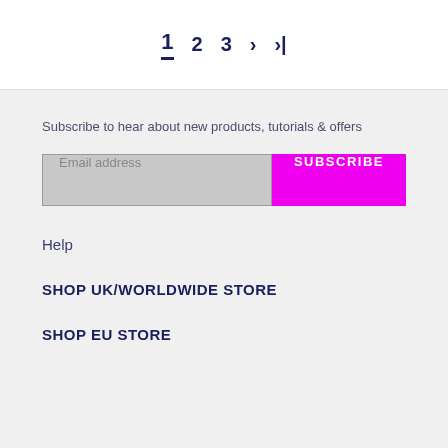[Figure (other): Pagination navigation showing current page 1 selected, with page numbers 2, 3, next arrow, and last page arrow]
Subscribe to hear about new products, tutorials & offers
Email address
SUBSCRIBE
Help
SHOP UK/WORLDWIDE STORE
SHOP EU STORE